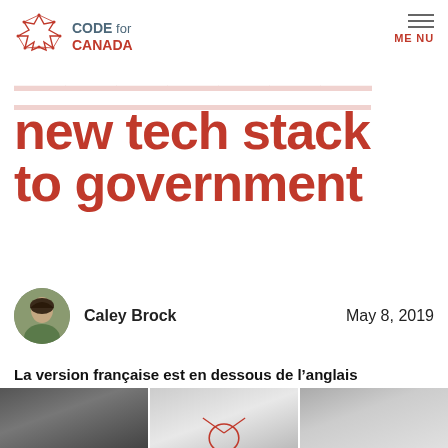[Figure (logo): Code for Canada logo with maple leaf icon and text]
new tech stack to government
Caley Brock   May 8, 2019
La version française est en dessous de l'anglais
[Figure (photo): Three-panel photo showing people in a workspace/meeting environment]